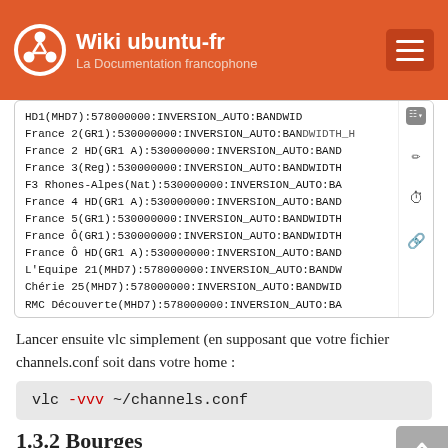Wiki ubuntu-fr — La Documentation francophone
[Figure (screenshot): Code listing box showing channel configuration lines with HD1(MHD7), France 2, France 3, F3 Rhones-Alpes, France 4 HD, France 5, France Ô, France Ô HD, L'Equipe 21, Chérie 25, RMC Découverte, NUMERO 23 entries with frequency and INVERSION_AUTO:BANDWID... parameters]
Lancer ensuite vlc simplement (en supposant que votre fichier channels.conf soit dans votre home :
vlc -vvv ~/channels.conf
1.3.2 Bourges